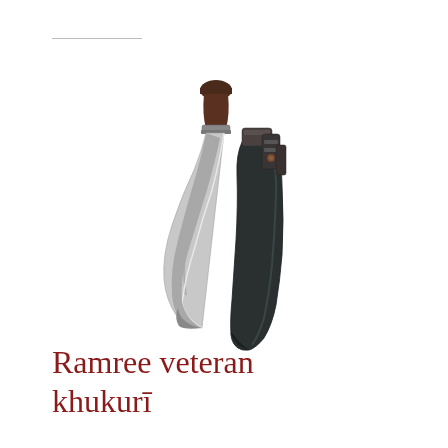[Figure (photo): A khukuri (kukri) knife with a curved steel blade and dark wooden handle, shown alongside its dark leather scabbard/sheath. Both objects are photographed against a white background.]
Ramree veteran khukurī